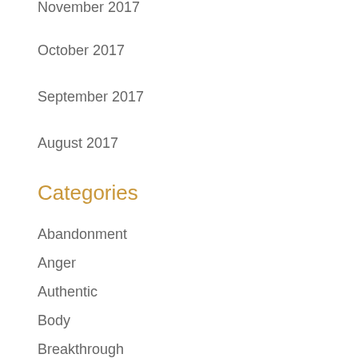November 2017
October 2017
September 2017
August 2017
Categories
Abandonment
Anger
Authentic
Body
Breakthrough
breakup
Change